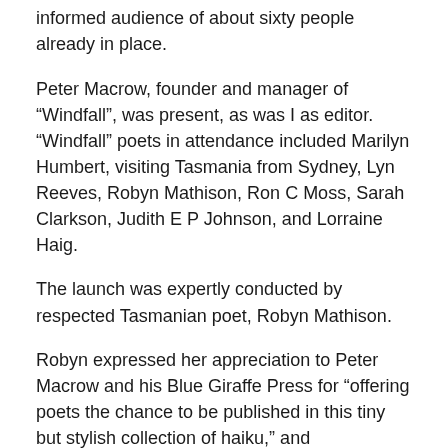informed audience of about sixty people already in place.
Peter Macrow, founder and manager of “Windfall”, was present, as was I as editor. “Windfall” poets in attendance included Marilyn Humbert, visiting Tasmania from Sydney, Lyn Reeves, Robyn Mathison, Ron C Moss, Sarah Clarkson, Judith E P Johnson, and Lorraine Haig.
The launch was expertly conducted by respected Tasmanian poet, Robyn Mathison.
Robyn expressed her appreciation to Peter Macrow and his Blue Giraffe Press for “offerng poets the chance to be published in this tiny but stylish collection of haiku,” and congratulated the fifty-three poets for moments shared in the sixty-three haiku included in “Windfall 3”.
An extract from Robyn Mathison’s launch speech follows: